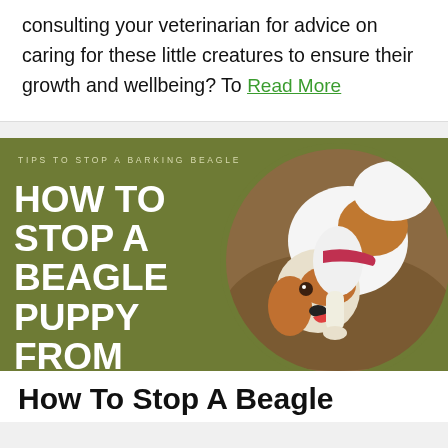consulting your veterinarian for advice on caring for these little creatures to ensure their growth and wellbeing? To Read More
[Figure (photo): Article thumbnail image with olive-green background showing text 'TIPS TO STOP A BARKING BEAGLE' in small caps and 'HOW TO STOP A BEAGLE PUPPY FROM BARKING?' in large bold white uppercase letters, with a circular photo of a beagle puppy on the right side.]
How To Stop A Beagle